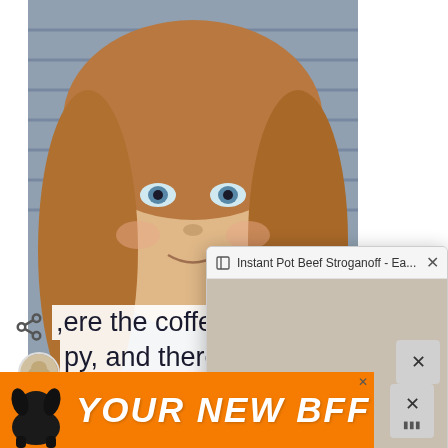[Figure (photo): Portrait photo of a smiling woman with long brown hair and blue eyes, photographed indoors near a window with blinds]
[Figure (screenshot): Browser popup showing 'Instant Pot Beef Stroganoff - Ea...' tab with a video thumbnail of a woman cooking near an Instant Pot in a kitchen with white cabinets]
...ere the coffee
py, and there'
delicious in the ki
[Figure (photo): Small circular avatar image of food/dish]
[Figure (advertisement): Orange advertisement banner with a black dog silhouette and the text 'YOUR NEW BFF' in bold white italic letters]